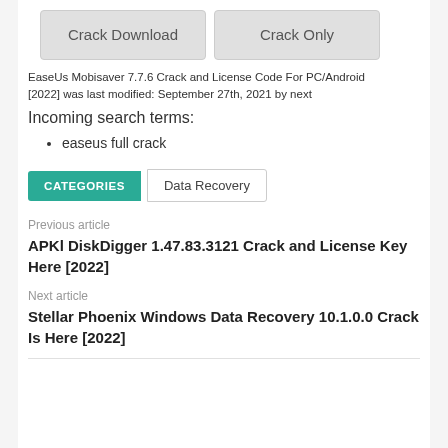[Figure (other): Two buttons: 'Crack Download' and 'Crack Only' styled as gray rounded rectangles]
EaseUs Mobisaver 7.7.6 Crack and License Code For PC/Android [2022] was last modified: September 27th, 2021 by next
Incoming search terms:
easeus full crack
CATEGORIES   Data Recovery
Previous article
APKl DiskDigger 1.47.83.3121 Crack and License Key Here [2022]
Next article
Stellar Phoenix Windows Data Recovery 10.1.0.0 Crack Is Here [2022]